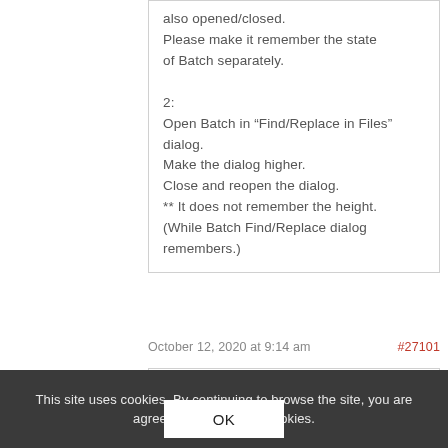also opened/closed.
Please make it remember the state of Batch separately.

2:
Open Batch in “Find/Replace in Files” dialog.
Make the dialog higher.
Close and reopen the dialog.
** It does not remember the height.
(While Batch Find/Replace dialog remembers.)
October 12, 2020 at 9:14 am
#27101
This site uses cookies. By continuing to browse the site, you are agreeing to our use of cookies.
OK
Yutaka Emura
Keymaster